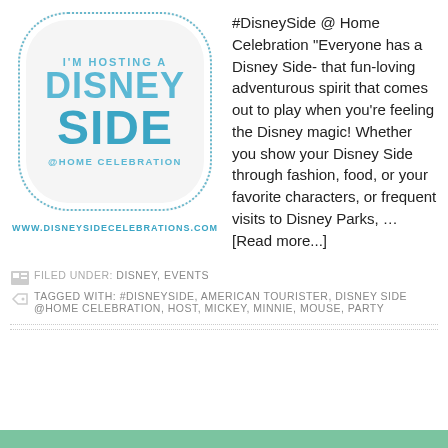[Figure (logo): I'm Hosting a Disney Side @Home Celebration badge logo with dotted border and URL www.disneysidecelebrations.com]
#DisneySide @ Home Celebration "Everyone has a Disney Side- that fun-loving adventurous spirit that comes out to play when you're feeling the Disney magic! Whether you show your Disney Side through fashion, food, or your favorite characters, or frequent visits to Disney Parks, … [Read more...]
FILED UNDER: DISNEY, EVENTS
TAGGED WITH: #DISNEYSIDE, AMERICAN TOURISTER, DISNEY SIDE @HOME CELEBRATION, HOST, MICKEY, MINNIE, MOUSE, PARTY